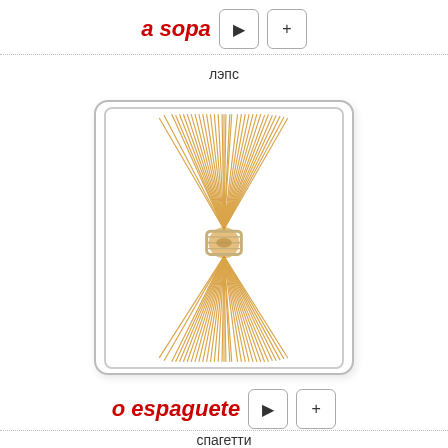a sopa
лэпс
[Figure (photo): A bunch of dry spaghetti noodles tied together in the middle with a string, fanning out at top and bottom, on white background]
o espaguete
спагетти